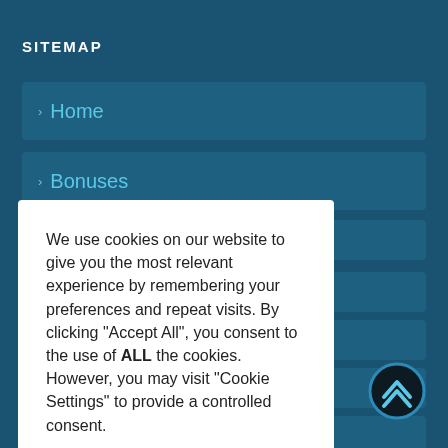SITEMAP
› Home
› Bonuses
We use cookies on our website to give you the most relevant experience by remembering your preferences and repeat visits. By clicking "Accept All", you consent to the use of ALL the cookies. However, you may visit "Cookie Settings" to provide a controlled consent.
› Top Casino Sites